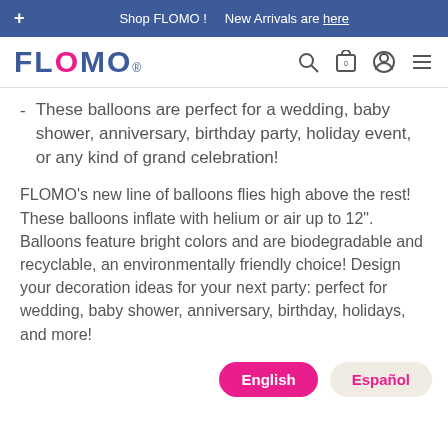+ Shop FLOMO ! New Arrivals are here
[Figure (logo): FLOMO logo in blue with pink O and registered trademark symbol, with search, cart, account, and menu icons]
These balloons are perfect for a wedding, baby shower, anniversary, birthday party, holiday event, or any kind of grand celebration!
FLOMO's new line of balloons flies high above the rest! These balloons inflate with helium or air up to 12". Balloons feature bright colors and are biodegradable and recyclable, an environmentally friendly choice! Design your decoration ideas for your next party: perfect for wedding, baby shower, anniversary, birthday, holidays, and more!
English   Español